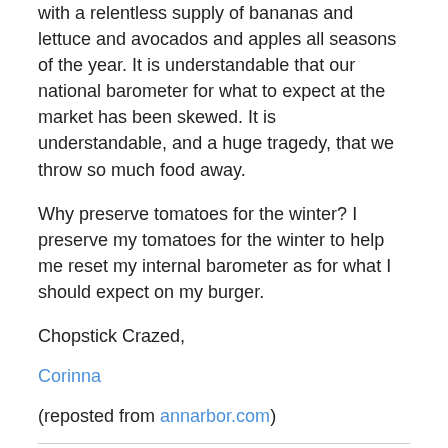with a relentless supply of bananas and lettuce and avocados and apples all seasons of the year. It is understandable that our national barometer for what to expect at the market has been skewed. It is understandable, and a huge tragedy, that we throw so much food away.
Why preserve tomatoes for the winter? I preserve my tomatoes for the winter to help me reset my internal barometer as for what I should expect on my burger.
Chopstick Crazed,
Corinna
(reposted from annarbor.com)
I gotta share this!